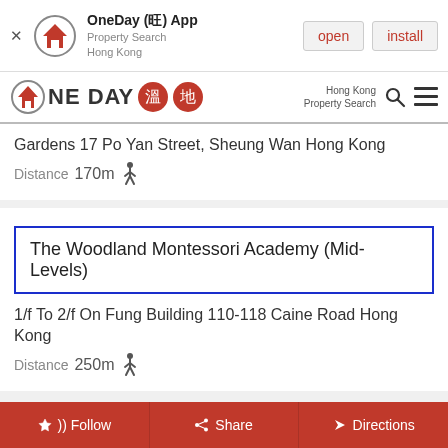[Figure (screenshot): OneDay App banner with logo, open and install buttons]
[Figure (logo): OneDay property search Hong Kong nav bar with Chinese characters]
Gardens 17 Po Yan Street, Sheung Wan Hong Kong Distance 170m
The Woodland Montessori Academy (Mid-Levels)
1/f To 2/f On Fung Building 110-118 Caine Road Hong Kong Distance 250m
Wisely Kindergarten
Follow  Share  Directions